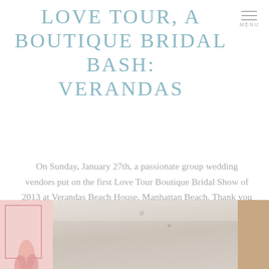LOVE TOUR, A BOUTIQUE BRIDAL BASH: VERANDAS
On Sunday, January 27th, a passionate group wedding vendors put on the first Love Tour Boutique Bridal Show of 2013 at Verandas Beach House, Manhattan Beach. Thank you Verandas for opening up your doors to...
READ MORE
[Figure (photo): Strip of three photos at the bottom of the page: a pink-bordered decorative image on the left, a photo of an interior room with recessed lighting in the center, and a warm-toned image on the right.]